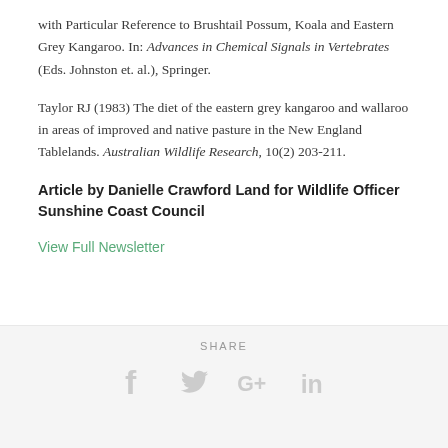with Particular Reference to Brushtail Possum, Koala and Eastern Grey Kangaroo. In: Advances in Chemical Signals in Vertebrates (Eds. Johnston et. al.), Springer.
Taylor RJ (1983) The diet of the eastern grey kangaroo and wallaroo in areas of improved and native pasture in the New England Tablelands. Australian Wildlife Research, 10(2) 203-211.
Article by Danielle Crawford Land for Wildlife Officer Sunshine Coast Council
View Full Newsletter
SHARE